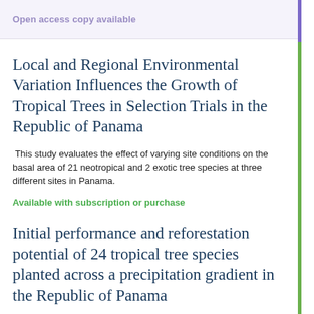Open access copy available
Local and Regional Environmental Variation Influences the Growth of Tropical Trees in Selection Trials in the Republic of Panama
This study evaluates the effect of varying site conditions on the basal area of 21 neotropical and 2 exotic tree species at three different sites in Panama.
Available with subscription or purchase
Initial performance and reforestation potential of 24 tropical tree species planted across a precipitation gradient in the Republic of Panama